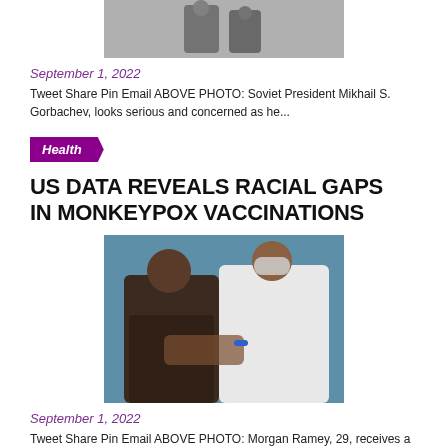[Figure (photo): Black and white photo of Soviet President Mikhail S. Gorbachev looking serious]
September 1, 2022
Tweet Share Pin Email ABOVE PHOTO: Soviet President Mikhail S. Gorbachev, looks serious and concerned as he...
Health
US DATA REVEALS RACIAL GAPS IN MONKEYPOX VACCINATIONS
[Figure (photo): A person receiving a monkeypox vaccine injection from a healthcare worker wearing PPE]
September 1, 2022
Tweet Share Pin Email ABOVE PHOTO: Morgan Ramey, 29, receives a dose of the monkeypox vaccine at...
Food And Beverage
WHAT'S COOKIN'? VEGAN